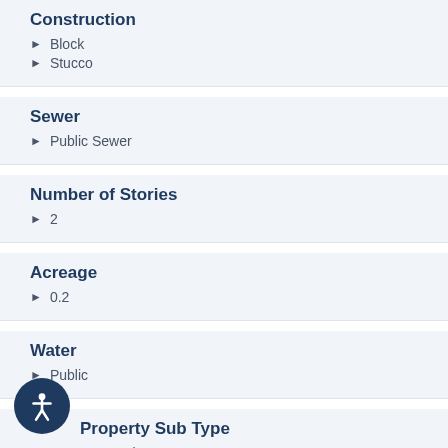Construction
Block
Stucco
Sewer
Public Sewer
Number of Stories
2
Acreage
0.2
Water
Public
Property Sub Type
Townhouse